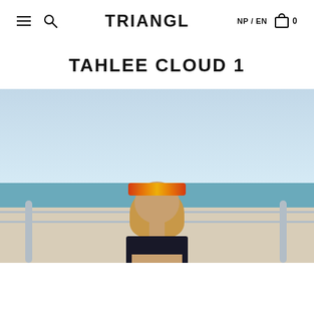TRIANGL  NP / EN  0
TAHLEE CLOUD 1
[Figure (photo): A young woman with blonde hair wearing futuristic mirrored yellow/orange shield sunglasses, a black bandeau top, and white pants, posing by a seaside railing with a blue sky and ocean in the background.]